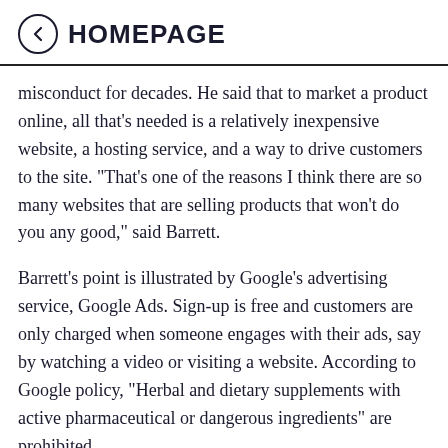HOMEPAGE
misconduct for decades. He said that to market a product online, all that's needed is a relatively inexpensive website, a hosting service, and a way to drive customers to the site. “That’s one of the reasons I think there are so many websites that are selling products that won’t do you any good,” said Barrett.
Barrett’s point is illustrated by Google’s advertising service, Google Ads. Sign-up is free and customers are only charged when someone engages with their ads, say by watching a video or visiting a website. According to Google policy, “Herbal and dietary supplements with active pharmaceutical or dangerous ingredients” are prohibited.
B...